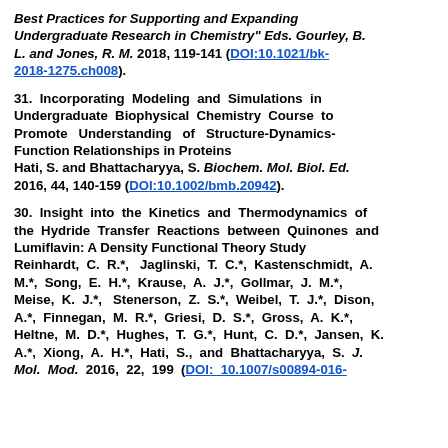Best Practices for Supporting and Expanding Undergraduate Research in Chemistry" Eds. Gourley, B. L. and Jones, R. M. 2018, 119-141 (DOI:10.1021/bk-2018-1275.ch008).
31. Incorporating Modeling and Simulations in Undergraduate Biophysical Chemistry Course to Promote Understanding of Structure-Dynamics-Function Relationships in Proteins Hati, S. and Bhattacharyya, S. Biochem. Mol. Biol. Ed. 2016, 44, 140-159 (DOI:10.1002/bmb.20942).
30. Insight into the Kinetics and Thermodynamics of the Hydride Transfer Reactions between Quinones and Lumiflavin: A Density Functional Theory Study Reinhardt, C. R.*, Jaglinski, T. C.*, Kastenschmidt, A. M.*, Song, E. H.*, Krause, A. J.*, Gollmar, J. M.*, Meise, K. J.*, Stenerson, Z. S.*, Weibel, T. J.*, Dison, A.*, Finnegan, M. R.*, Griesi, D. S.*, Gross, A. K.*, Heltne, M. D.*, Hughes, T. G.*, Hunt, C. D.*, Jansen, K. A.*, Xiong, A. H.*, Hati, S., and Bhattacharyya, S. J. Mol. Mod. 2016, 22, 199 (DOI: 10.1007/s00894-016-